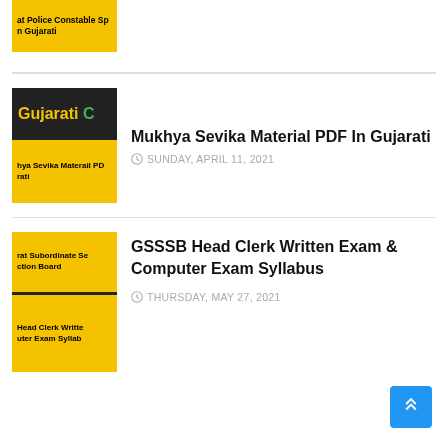[Figure (illustration): Thumbnail image partially visible at top: yellow background with bold black text 'at Police Constable Sp' and 'n Gujarati']
[Figure (illustration): Thumbnail with black top section showing 'Gujarati C' text in yellow/green, and yellow bottom section with text 'hya Sevika Materail PD' and 'rati']
Mukhya Sevika Material PDF In Gujarati
SUNDAY, APRIL 11, 2021
[Figure (illustration): Thumbnail with yellow background showing 'rat Subordinate Se' and 'ction Board' text, plus lower band with 'Head Clerk Writte' and 'uter Exam Syllab']
GSSSB Head Clerk Written Exam & Computer Exam Syllabus
THURSDAY, MAY 27, 2021